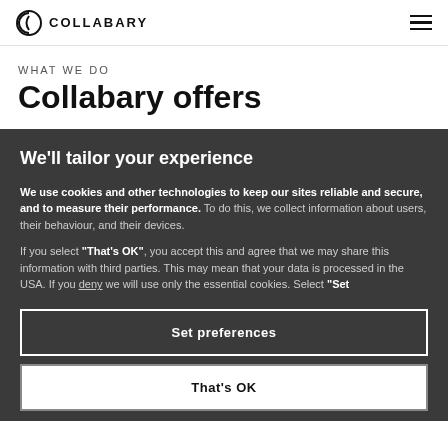COLLABARY
WHAT WE DO
Collabary offers
We'll tailor your experience
We use cookies and other technologies to keep our sites reliable and secure, and to measure their performance. To do this, we collect information about users, their behaviour, and their devices.
If you select "That's OK", you accept this and agree that we may share this information with third parties. This may mean that your data is processed in the USA. If you deny we will use only the essential cookies. Select "Set
Set preferences
That's OK